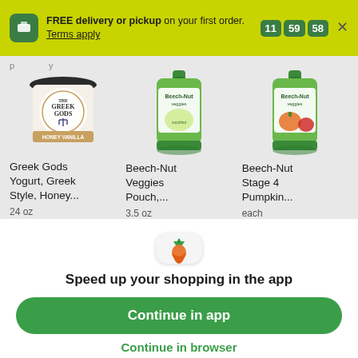FREE delivery or pickup on your first order. Terms apply. 11:59:58
[Figure (photo): Greek Gods Honey Vanilla Greek Yogurt tub, 24 oz]
[Figure (photo): Beech-Nut Veggies Pouch, 3.5 oz (green pouch with vegetables)]
[Figure (photo): Beech-Nut Stage 4 Pumpkin pouch (green pouch with pumpkin and apple)]
Greek Gods Yogurt, Greek Style, Honey...
24 oz
Beech-Nut Veggies Pouch,...
3.5 oz
Beech-Nut Stage 4 Pumpkin...
each
[Figure (logo): Instacart carrot app icon]
Speed up your shopping in the app
Continue in app
Continue in browser